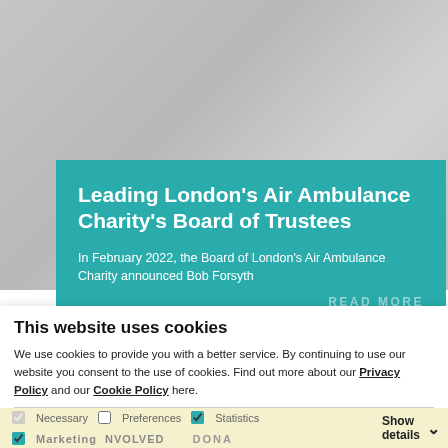[Figure (photo): Hero/background image of London's Air Ambulance charity website, greyed out behind content card]
Leading London's Air Ambulance Charity's Board of Trustees
In February 2022, the Board of London's Air Ambulance Charity announced Bob Forsyth
READ MORE
This website uses cookies
We use cookies to provide you with a better service. By continuing to use our website you consent to the use of cookies. Find out more about our Privacy Policy and our Cookie Policy here.
OK
Necessary  Preferences  Statistics  Marketing  Show details